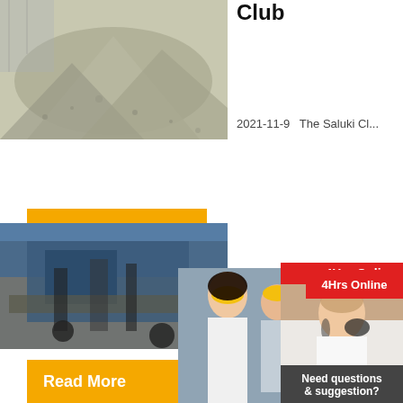[Figure (photo): Gravel/crushed stone pile at industrial site]
Club
2021-11-9   The Saluki Cl...
Read More
[Figure (photo): Heavy mining/crushing machine at industrial site]
[Figure (photo): Workers in yellow hard hats - live chat overlay]
[Figure (photo): Customer support agent with headset - sidebar]
LIVE CHAT
Click for a Free Consultation
Chat now
Chat later
Greater
1849 ...
The Jews C...
Read More
4Hrs Online
Need questions & suggestion?
Chat Now
Enquiry
limingjlmofen